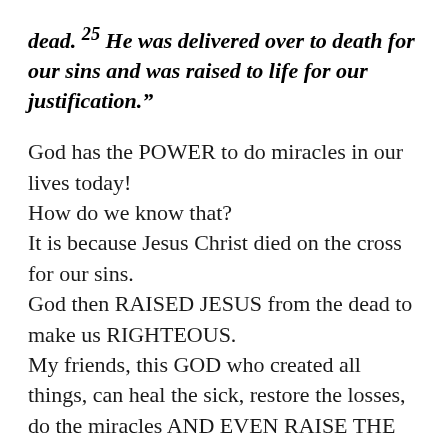dead. 25 He was delivered over to death for our sins and was raised to life for our justification."
God has the POWER to do miracles in our lives today!
How do we know that?
It is because Jesus Christ died on the cross for our sins.
God then RAISED JESUS from the dead to make us RIGHTEOUS.
My friends, this GOD who created all things, can heal the sick, restore the losses, do the miracles AND EVEN RAISE THE DEAD.
The greatest miracle is that Jesus died for our